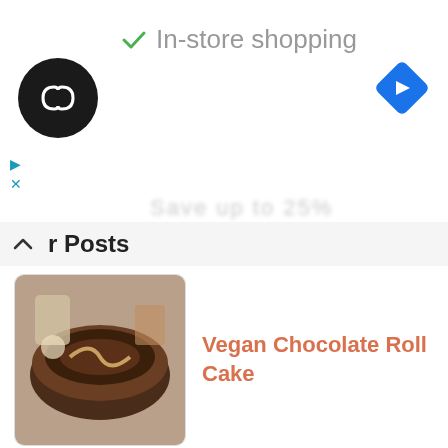[Figure (screenshot): Ad bar showing a store logo (black circle with infinity-like icon), a green checkmark with 'In-store shopping' text, a blue navigation diamond icon, and ad controls (play and close buttons). A partially visible blurred text at the bottom of the ad.]
r Posts
Vegan Chocolate Roll Cake
Vegan Cheesecake...
Vegan Hazelnut...
Salted Caramel Dessert Hummus